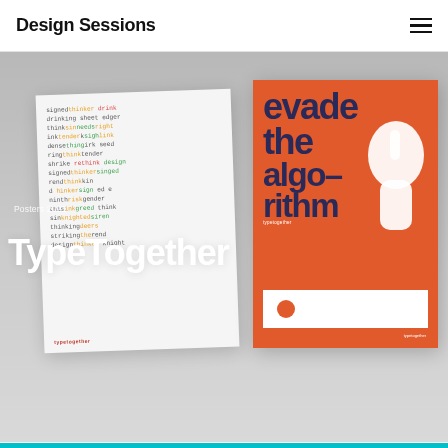Design Sessions
[Figure (photo): Hero image showing two design posters leaning against a light grey surface. Left poster is white with colourful typographic word specimen text. Right poster is orange with bold dark blue text reading 'evade the algo-rithm' and a white hand silhouette graphic. Overlaid text reads 'Posters 2021' and 'TypeTogether'.]
Posters 2021
TypeTogether